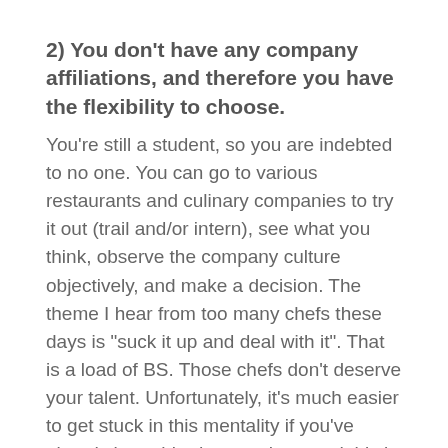2) You don't have any company affiliations, and therefore you have the flexibility to choose.
You're still a student, so you are indebted to no one. You can go to various restaurants and culinary companies to try it out (trail and/or intern), see what you think, observe the company culture objectively, and make a decision. The theme I hear from too many chefs these days is "suck it up and deal with it". That is a load of BS. Those chefs don't deserve your talent. Unfortunately, it's much easier to get stuck in this mentality if you've already been hired somewhere and this is management's "imperative" given to you. I fervently believe you should choose the best place